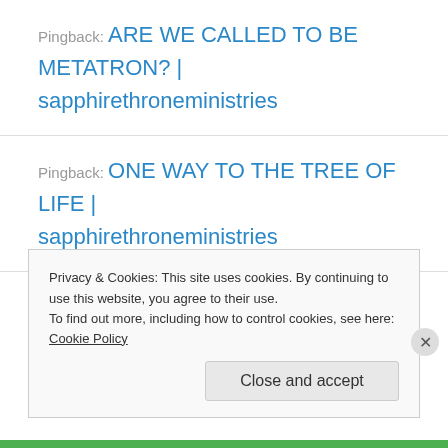Pingback: ARE WE CALLED TO BE METATRON? | sapphirethroneministries
Pingback: ONE WAY TO THE TREE OF LIFE | sapphirethroneministries
Pingback: ANGELIC SONGS OF THE SABBATH | sapphirethroneministries
Privacy & Cookies: This site uses cookies. By continuing to use this website, you agree to their use. To find out more, including how to control cookies, see here: Cookie Policy